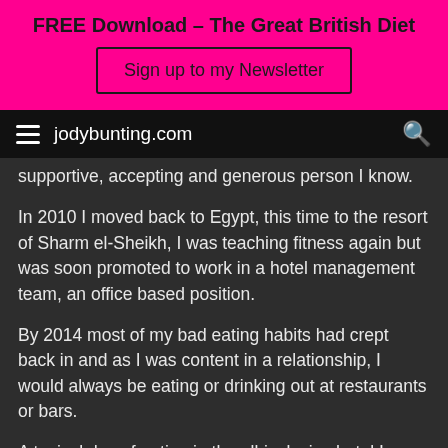FREE Download - The Great British Diet
Sign up to my Newsletter
jodybunting.com
supportive, accepting and generous person I know.
In 2010 I moved back to Egypt, this time to the resort of Sharm el-Sheikh, I was teaching fitness again but was soon promoted to work in a hotel management team, an office based position.
By 2014 most of my bad eating habits had crept back in and as I was content in a relationship, I would always be eating or drinking out at restaurants or bars.
A typical day of eating in the all-inclusive hotel I was living in...